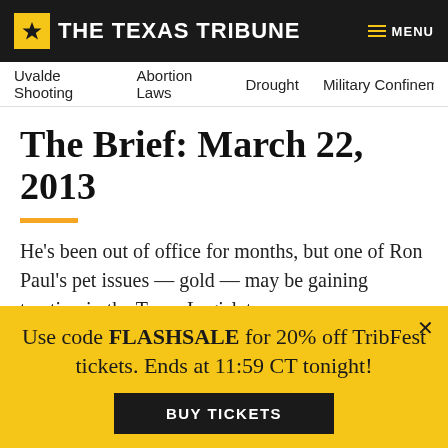THE TEXAS TRIBUNE | MENU
Uvalde Shooting   Abortion Laws   Drought   Military Confineme
The Brief: March 22, 2013
He's been out of office for months, but one of Ron Paul's pet issues — gold — may be gaining traction in the Texas Legislature.
BY DAVID MUTO   MARCH 22, 2013   3 AM CENTRAL
[Figure (screenshot): Social sharing buttons: Facebook, Twitter, Email, Copy Link]
Use code FLASHSALE for 20% off TribFest tickets. Ends at 11:59 CT tonight!
BUY TICKETS